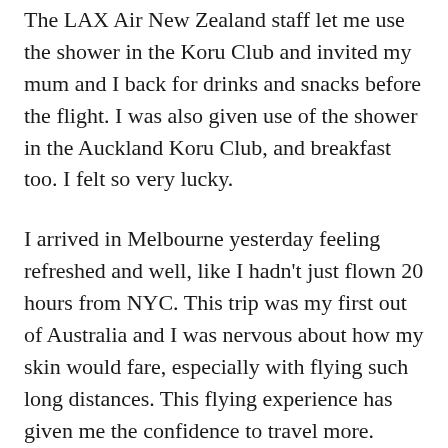The LAX Air New Zealand staff let me use the shower in the Koru Club and invited my mum and I back for drinks and snacks before the flight. I was also given use of the shower in the Auckland Koru Club, and breakfast too. I felt so very lucky.
I arrived in Melbourne yesterday feeling refreshed and well, like I hadn't just flown 20 hours from NYC. This trip was my first out of Australia and I was nervous about how my skin would fare, especially with flying such long distances. This flying experience has given me the confidence to travel more.
Thank you for making my long journey one of my favourite parts of my overseas trip. The service I